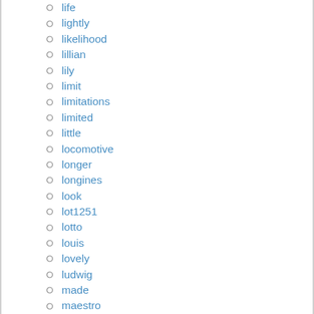life
lightly
likelihood
lillian
lily
limit
limitations
limited
little
locomotive
longer
longines
look
lot1251
lotto
louis
lovely
ludwig
made
maestro